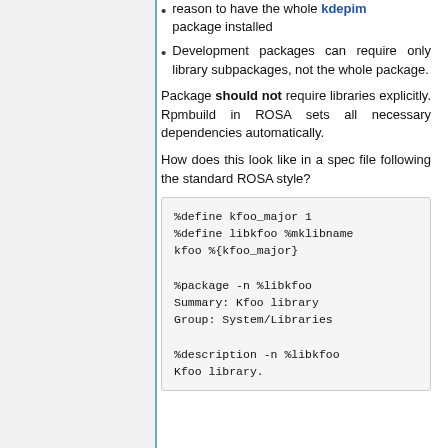reason to have the whole kdepim package installed
Development packages can require only library subpackages, not the whole package.
Package should not require libraries explicitly. Rpmbuild in ROSA sets all necessary dependencies automatically.
How does this look like in a spec file following the standard ROSA style?
%define kfoo_major 1
%define libkfoo %mklibname
kfoo %{kfoo_major}

%package -n %libkfoo
Summary: Kfoo library
Group: System/Libraries

%description -n %libkfoo
Kfoo library.